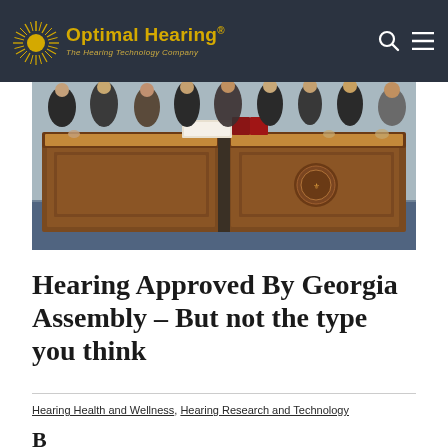Optimal Hearing® – The Hearing Technology Company
[Figure (photo): Group of people in formal attire standing behind a large ornate wooden desk with a state seal emblem, at what appears to be an official government signing ceremony]
Hearing Approved By Georgia Assembly – But not the type you think
Hearing Health and Wellness, Hearing Research and Technology